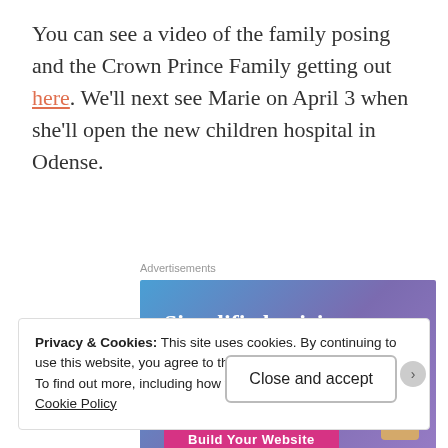You can see a video of the family posing and the Crown Prince Family getting out here. We'll next see Marie on April 3 when she'll open the new children hospital in Odense.
Advertisements
[Figure (other): Advertisement banner: 'Simplified pricing for everything you need.' with a 'Build Your Website' button and a price tag graphic. Blue-purple gradient background.]
Privacy & Cookies: This site uses cookies. By continuing to use this website, you agree to their use.
To find out more, including how to control cookies, see here: Cookie Policy
Close and accept